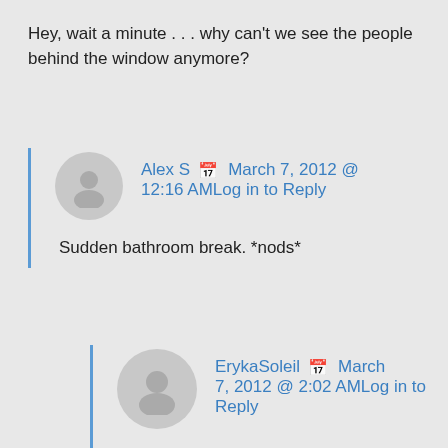Hey, wait a minute . . . why can't we see the people behind the window anymore?
Alex S  📅 March 7, 2012 @ 12:16 AMLog in to Reply
Sudden bathroom break. *nods*
ErykaSoleil  📅 March 7, 2012 @ 2:02 AMLog in to Reply
Here I was thinking maybe they had just all realized that something awful was about